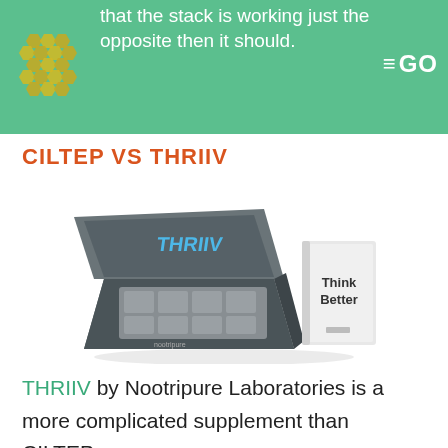that the stack is working just the opposite then it should.
CILTEP VS THRIIV
[Figure (photo): Photo of THRIIV supplement box open revealing contents with a small book labeled 'Think Better' beside it]
THRIIV by Nootripure Laboratories is a more complicated supplement than CILTEP.